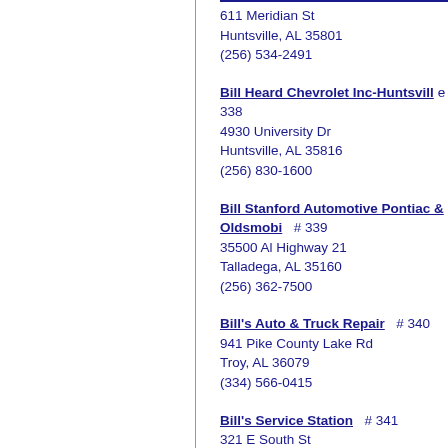611 Meridian St
Huntsville, AL 35801
(256) 534-2491
Bill Heard Chevrolet Inc-Huntsville  338
4930 University Dr
Huntsville, AL 35816
(256) 830-1600
Bill Stanford Automotive Pontiac Oldsmobi  # 339
35500 Al Highway 21
Talladega, AL 35160
(256) 362-7500
Bill's Auto & Truck Repair  # 340
941 Pike County Lake Rd
Troy, AL 36079
(334) 566-0415
Bill's Service Station  # 341
321 E South St
Dadeville, AL 36853
(256) 825-6914
Bills Transmission  # 342
17815 Us Highway 31
Cullman, AL 35058
(256) 739-3299